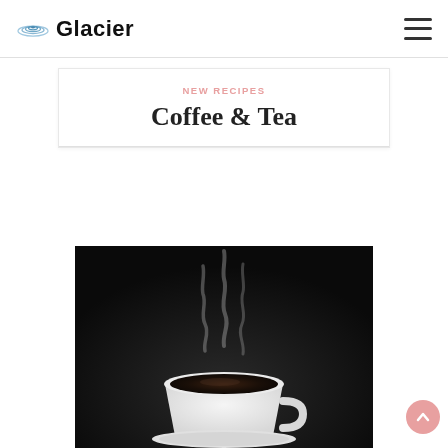Glacier
NEW RECIPES
Coffee & Tea
[Figure (photo): A white coffee cup filled with dark coffee, with wispy steam rising above it, against a dark background]